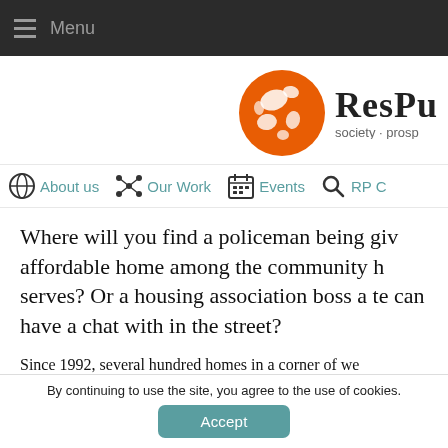Menu
[Figure (logo): ResPublica logo: orange globe with white continents, text 'ResPu...' in serif font, tagline 'society · prosp...']
About us  Our Work  Events  RP C...
Where will you find a policeman being given an affordable home among the community he serves? Or a housing association boss a tenant can have a chat with in the street?
Since 1992, several hundred homes in a corner of we...
By continuing to use the site, you agree to the use of cookies.